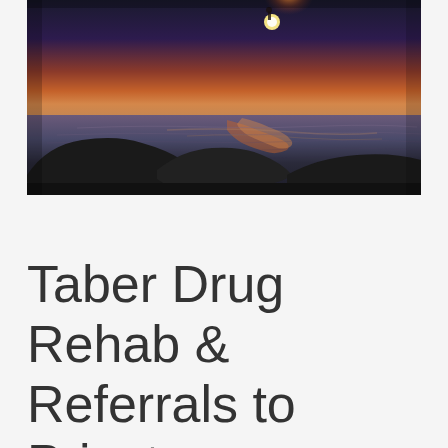[Figure (photo): A dramatic sunset/dusk photo showing silhouetted rocks against a reflective water surface with orange and purple sky tones, and a distant figure visible on the horizon.]
Taber Drug Rehab & Referrals to Private Centers